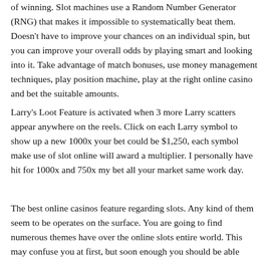of winning. Slot machines use a Random Number Generator (RNG) that makes it impossible to systematically beat them. Doesn't have to improve your chances on an individual spin, but you can improve your overall odds by playing smart and looking into it. Take advantage of match bonuses, use money management techniques, play position machine, play at the right online casino and bet the suitable amounts.
Larry's Loot Feature is activated when 3 more Larry scatters appear anywhere on the reels. Click on each Larry symbol to show up a new 1000x your bet could be $1,250, each symbol make use of slot online will award a multiplier. I personally have hit for 1000x and 750x my bet all your market same work day.
The best online casinos feature regarding slots. Any kind of them seem to be operates on the surface. You are going to find numerous themes have over the online slots entire world. This may confuse you at first, but soon enough you should be able